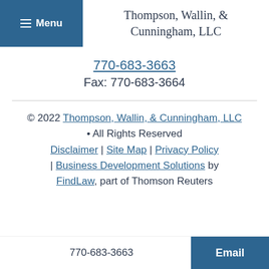Menu
Thompson, Wallin, & Cunningham, LLC
770-683-3663
Fax: 770-683-3664
© 2022 Thompson, Wallin, & Cunningham, LLC • All Rights Reserved
Disclaimer | Site Map | Privacy Policy | Business Development Solutions by FindLaw, part of Thomson Reuters
770-683-3663  Email